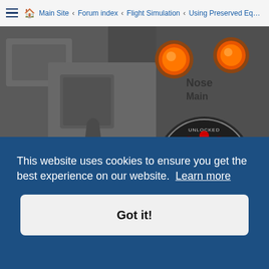≡ 🏠 Main Site ‹ Forum index ‹ Flight Simulation ‹ Using Preserved Equi...
[Figure (photo): Close-up photo of an aircraft cockpit panel showing a landing gear indicator with a circular dial labeled 'UNLOCKED' and 'LOCKED DOWN', with L and R positions, illuminated white and green lights, and two orange warning lights at the top. A brown bottle is visible in the lower center.]
This website uses cookies to ensure you get the best experience on our website. Learn more
Got it!